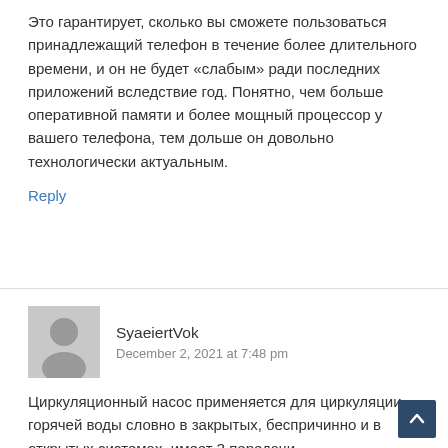Это гарантирует, сколько вы сможете пользоваться принадлежащий телефон в течение более длительного времени, и он не будет «слабым» ради последних приложений вследствие год. Понятно, чем больше оперативной памяти и более мощный процессор у вашего телефона, тем дольше он довольно технологически актуальным.
Reply
SyaeiertVok
December 2, 2021 at 7:48 pm
Циркуляционный насос применяется для циркуляции горячей воды словно в закрытых, беспричинно и в открытых системах, имеет 3 передачи.